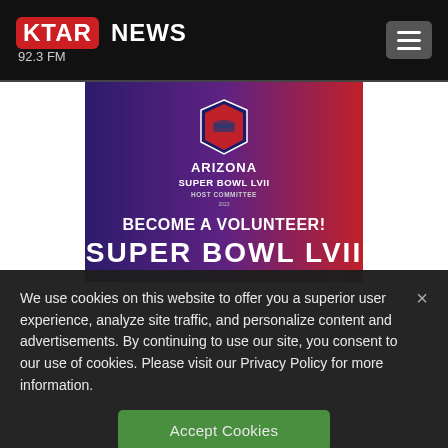KTAR NEWS 92.3 FM
[Figure (illustration): Arizona Super Bowl LVII Host Committee advertisement banner with gradient background (purple to red). Shows 'BECOME A VOLUNTEER! SUPER BOWL LVII' text in white bold letters, with the Arizona Super Bowl LVII Host Committee logo at the top center.]
We use cookies on this website to offer you a superior user experience, analyze site traffic, and personalize content and advertisements. By continuing to use our site, you consent to our use of cookies. Please visit our Privacy Policy for more information.
Accept Cookies